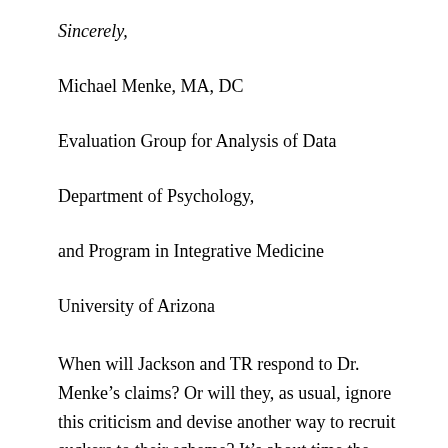Sincerely,
Michael Menke, MA, DC
Evaluation Group for Analysis of Data
Department of Psychology,
and Program in Integrative Medicine
University of Arizona
When will Jackson and TR respond to Dr. Menke’s claims? Or will they, as usual, ignore this criticism and devise another way to recruit suckers to their scheme? It’s about time the mainstream chiro researchers and academicians address this problem publicly; I suggest a Great Debate at RAC would be a